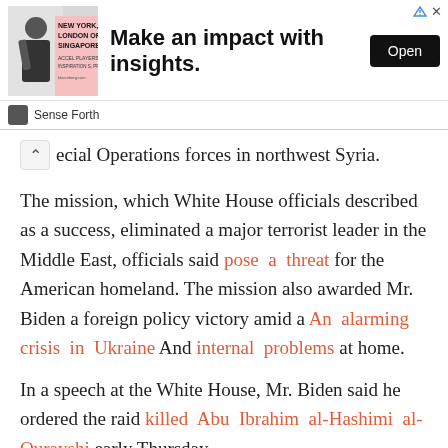[Figure (other): Advertisement banner for 'Sense Forth' with headline 'Make an impact with insights.' and an Open button. Shows a person in business setting with text NEW YORK, LONDON OR SINGAPORE.]
...ecial Operations forces in northwest Syria.
The mission, which White House officials described as a success, eliminated a major terrorist leader in the Middle East, officials said pose a threat for the American homeland. The mission also awarded Mr. Biden a foreign policy victory amid a An alarming crisis in Ukraine And internal problems at home.
In a speech at the White House, Mr. Biden said he ordered the raid killed Abu Ibrahim al-Hashimi al-Qurayshi early Thursday.